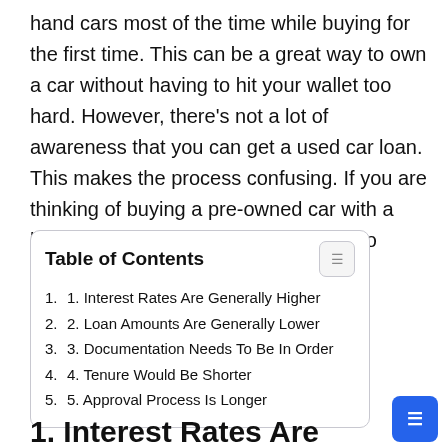hand cars most of the time while buying for the first time. This can be a great way to own a car without having to hit your wallet too hard. However, there's not a lot of awareness that you can get a used car loan. This makes the process confusing. If you are thinking of buying a pre-owned car with a loan, here are some points you need to remember.
| # | Item |
| --- | --- |
| 1. | 1. Interest Rates Are Generally Higher |
| 2. | 2. Loan Amounts Are Generally Lower |
| 3. | 3. Documentation Needs To Be In Order |
| 4. | 4. Tenure Would Be Shorter |
| 5. | 5. Approval Process Is Longer |
1. Interest Rates Are